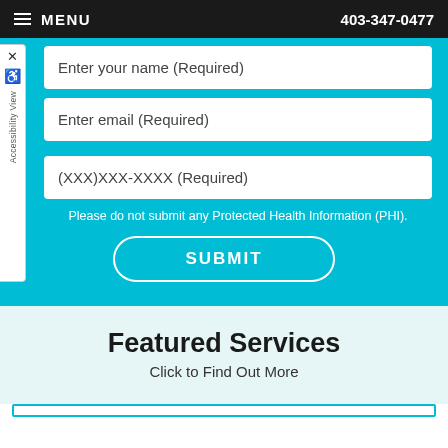MENU  403-347-0477
Enter your name (Required)
Enter email (Required)
(XXX)XXX-XXXX (Required)
Please do not submit any Protected Health Information (PHI).
SUBMIT
Featured Services
Click to Find Out More